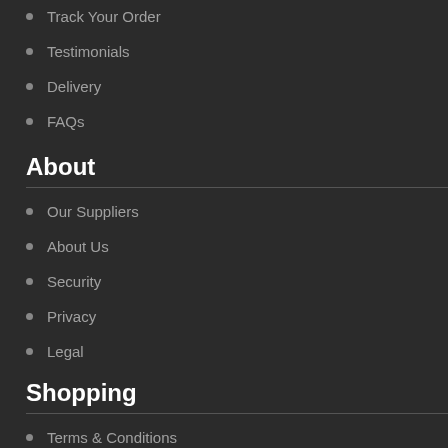Track Your Order
Testimonials
Delivery
FAQs
About
Our Suppliers
About Us
Security
Privacy
Legal
Shopping
Terms & Conditions
Track Your Order